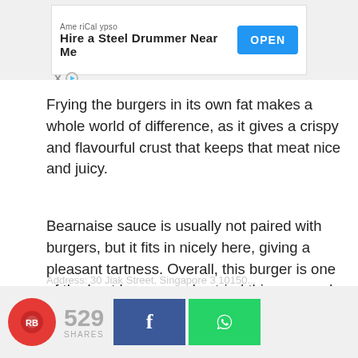[Figure (screenshot): Advertisement banner for AmeriCalypso - Hire a Steel Drummer Near Me with OPEN button]
Frying the burgers in its own fat makes a whole world of difference, as it gives a crispy and flavourful crust that keeps that meat nice and juicy.
Bearnaise sauce is usually not paired with burgers, but it fits in nicely here, giving a pleasant tartness. Overall, this burger is one of the best burgers we've tried this year and is definitely worth a try.
If you're still feeling in the mood for affordable steaks, be sure to check out Braseiro at Joo Chiat!
529 SHARES